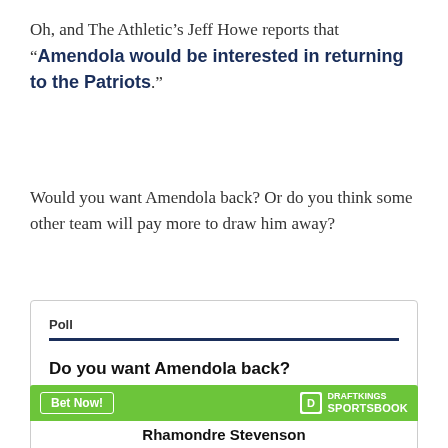Oh, and The Athletic’s Jeff Howe reports that “Amendola would be interested in returning to the Patriots.”
Would you want Amendola back? Or do you think some other team will pay more to draw him away?
Poll
Do you want Amendola back?
[Figure (infographic): DraftKings Sportsbook banner with Bet Now! button and Rhamondre Stevenson label]